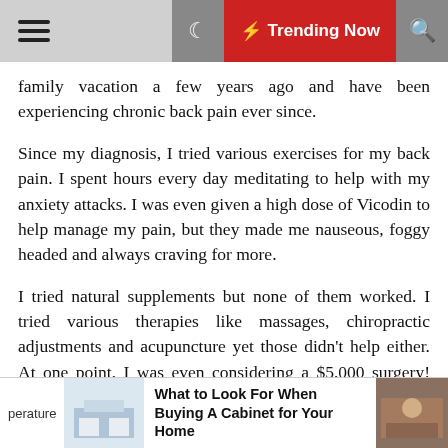☰ [hamburger] | [moon icon] | ⚡ Trending Now | [search icon]
family vacation a few years ago and have been experiencing chronic back pain ever since.
Since my diagnosis, I tried various exercises for my back pain. I spent hours every day meditating to help with my anxiety attacks. I was even given a high dose of Vicodin to help manage my pain, but they made me nauseous, foggy headed and always craving for more.
I tried natural supplements but none of them worked. I tried various therapies like massages, chiropractic adjustments and acupuncture yet those didn't help either. At one point, I was even considering a $5,000 surgery! But I read about horrible side effects from others online. Plus, I couldn't afford to dig myself deeper into financial debt. So I decided to keep searching.
S...
perature | [kitchen image] | What to Look For When Buying A Cabinet for Your Home | [room image]